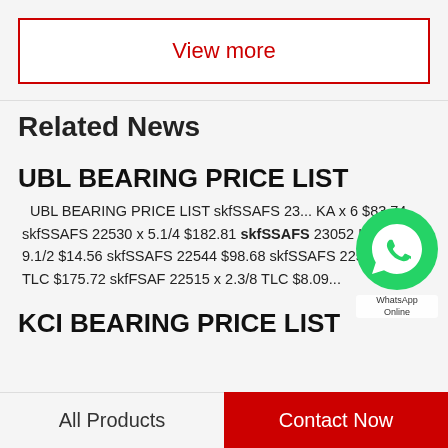View more
Related News
UBL BEARING PRICE LIST
UBL BEARING PRICE LIST skfSSAFS 23... KA x 6 $83.74 skfSSAFS 22530 x 5.1/4 $182.81 skfSSAFS 23052 KATLC x 9.1/2 $14.56 skfSSAFS 22544 $98.68 skfSSAFS 22516 x 2.3/4 TLC $175.72 skfFSAF 22515 x 2.3/8 TLC $8.09...
KCI BEARING PRICE LIST
All Products
Contact Now